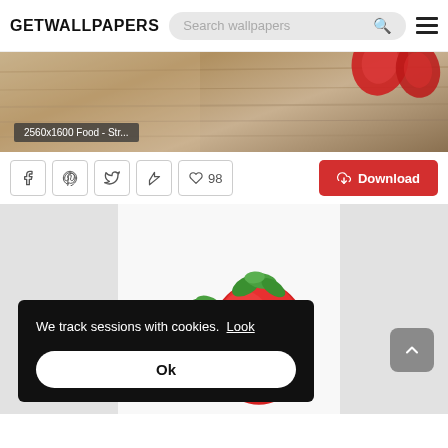GETWALLPAPERS  Search wallpapers  ☰
[Figure (photo): Hero image of strawberries on a rustic wooden board with label '2560x1600 Food - Str...']
2560x1600 Food - Str...
Facebook share | Pinterest share | Twitter share | Flag | ♡ 98 | ↓ Download
[Figure (photo): Strawberry food wallpaper image shown in main content area, flanked by grey placeholder panels]
We track sessions with cookies.  Look
Ok